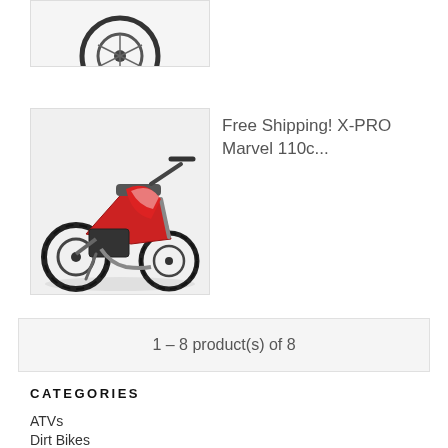[Figure (photo): Partial view of a product image (cropped at top of page), showing what appears to be a small vehicle or bike tire/wheel on a white/gray background.]
[Figure (photo): Photo of an X-PRO Marvel 110cc dirt bike with red and black graphics, silver frame, knobby tires, on a white background.]
Free Shipping! X-PRO Marvel 110c...
1 – 8 product(s) of 8
CATEGORIES
ATVs
Dirt Bikes